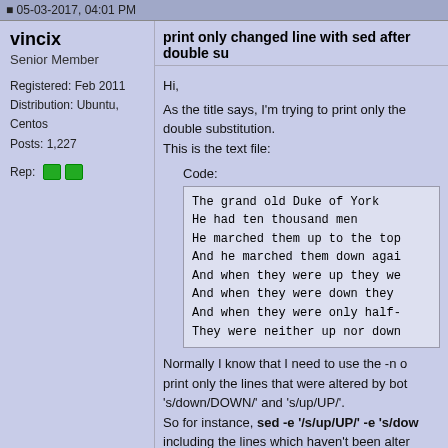05-03-2017, 04:01 PM
vincix
Senior Member

Registered: Feb 2011
Distribution: Ubuntu, Centos
Posts: 1,227

Rep:
print only changed line with sed after double su
Hi,

As the title says, I'm trying to print only the changed lines after a double substitution.
This is the text file:
Code:
The grand old Duke of York
He had ten thousand men
He marched them up to the top
And he marched them down again
And when they were up they we
And when they were down they
And when they were only half-
They were neither up nor down
Normally I know that I need to use the -n option and 'p' flag to print only the lines that were altered by both 's/down/DOWN/' and 's/up/UP/'.
So for instance, sed -e 's/up/UP' -e 's/dow including the lines which haven't been altered.

sed -n -e 's/up/UP/p' -e 's/down/DOWN/p containing both 'up' and 'down' are going to